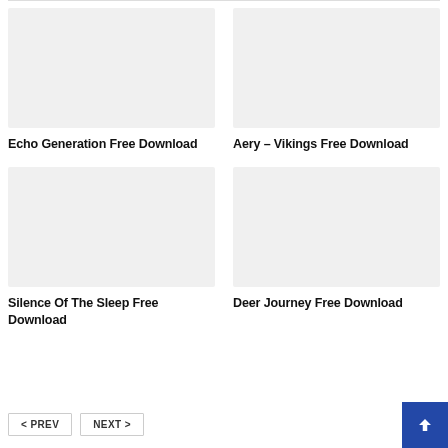[Figure (photo): Placeholder image for Echo Generation Free Download]
[Figure (photo): Placeholder image for Aery – Vikings Free Download]
Echo Generation Free Download
Aery – Vikings Free Download
[Figure (photo): Placeholder image for Silence Of The Sleep Free Download]
[Figure (photo): Placeholder image for Deer Journey Free Download]
Silence Of The Sleep Free Download
Deer Journey Free Download
< PREV   NEXT >